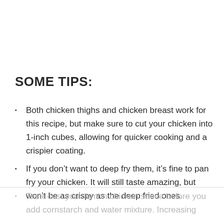SOME TIPS:
Both chicken thighs and chicken breast work for this recipe, but make sure to cut your chicken into 1-inch cubes, allowing for quicker cooking and a crispier coating.
If you don’t want to deep fry them, it’s fine to pan fry your chicken. It will still taste amazing, but won’t be as crispy as the deep fried ones.
Taste-test your lemon chicken sauce before you add cornstarch and water mixture. Increasing…